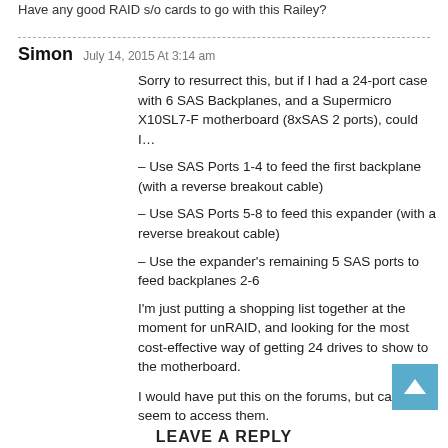Have any good RAID s/o cards to go with this Railey?
Simon  July 14, 2015 At 3:14 am
Sorry to resurrect this, but if I had a 24-port case with 6 SAS Backplanes, and a Supermicro X10SL7-F motherboard (8xSAS 2 ports), could I…
– Use SAS Ports 1-4 to feed the first backplane (with a reverse breakout cable)
– Use SAS Ports 5-8 to feed this expander (with a reverse breakout cable)
– Use the expander's remaining 5 SAS ports to feed backplanes 2-6
I'm just putting a shopping list together at the moment for unRAID, and looking for the most cost-effective way of getting 24 drives to show to the motherboard.

I would have put this on the forums, but can't seem to access them.
LEAVE A REPLY